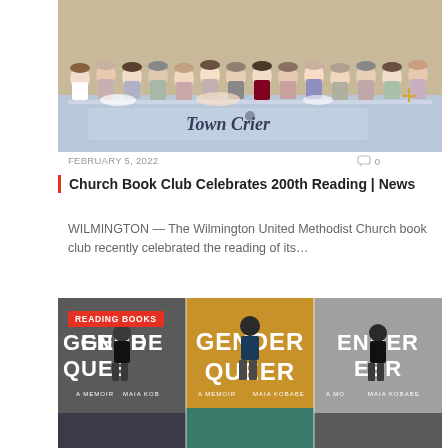[Figure (photo): Group photo of book club members standing behind a long table with a Town Crier banner in front]
FEBRUARY 5, 2022
0
Church Book Club Celebrates 200th Reading | News
WILMINGTON — The Wilmington United Methodist Church book club recently celebrated the reading of its…
[Figure (photo): Multiple copies of the book 'Gender Queer: A Memoir' by Maia Kobabe shown side by side, with a red Reading Books badge overlay]